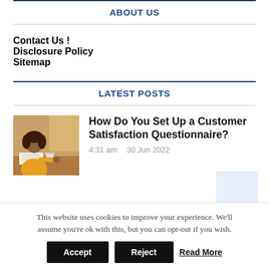ABOUT US
Contact Us !
Disclosure Policy
Sitemap
LATEST POSTS
[Figure (photo): Woman in yellow top working at a desk with papers and a laptop, indoor setting]
How Do You Set Up a Customer Satisfaction Questionnaire?
4:31 am    30 Jun 2022
This website uses cookies to improve your experience. We'll assume you're ok with this, but you can opt-out if you wish.
Accept   Reject   Read More